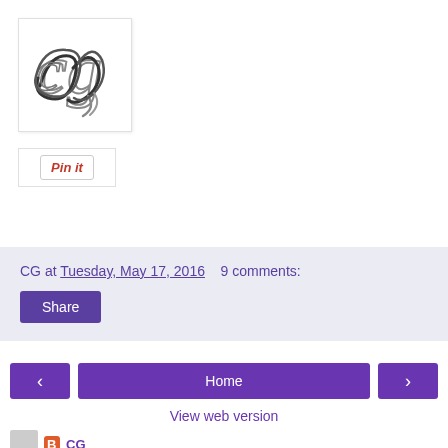[Figure (logo): CG cursive logo in gray/black on white background]
[Figure (other): Pin it button]
CG at Tuesday, May 17, 2016   9 comments:
Share
< Home >
View web version
CG